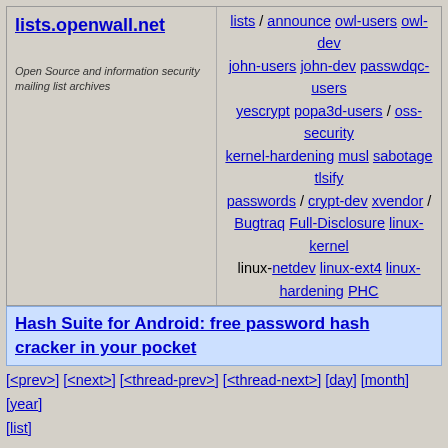lists.openwall.net | Open Source and information security mailing list archives
lists / announce owl-users owl-dev john-users john-dev passwdqc-users yescrypt popa3d-users / oss-security kernel-hardening musl sabotage tlsify passwords / crypt-dev xvendor / Bugtraq Full-Disclosure linux-kernel linux-netdev linux-ext4 linux-hardening PHC
Hash Suite for Android: free password hash cracker in your pocket
[<prev>] [<next>] [<thread-prev>] [<thread-next>] [day] [month] [year] [list]
Date:    Sun,  9 Nov 2014 23:10:37 +0800
From:    Jiang Liu
<jiang.liu@...ux.intel.com>
To:      Bjorn Helgaas <bhelgaas@...gle.com>,
         Benjamin Herrenschmidt
<benh@...nel.crashing.org>,
         Thomas Gleixner
<tglx@...utronix.de>,
         Ingo Molnar <mingo@...hat.com>,
         "H. Peter Anvin" <hpa@...or.com>,
         "Rafael J. Wysocki"